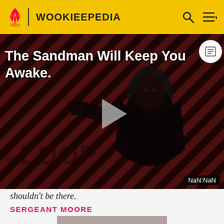WOOKIEEPEDIA
[Figure (screenshot): Video player thumbnail from The Loop on Wookieepedia showing a dark figure in black against red diagonal stripes background with text 'The Sandman Will Keep You Awake.' and a play button in center. Lower portion shows 'THE LOOP' text overlay and a NaN:NaN timestamp in bottom right.]
shouldn't be there.
SERGEANT MOORE
[Figure (photo): Partially visible photo at the bottom of the page]